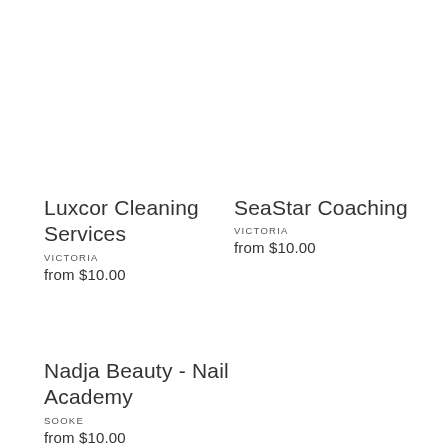Luxcor Cleaning Services
VICTORIA
from $10.00
SeaStar Coaching
VICTORIA
from $10.00
Nadja Beauty - Nail Academy
SOOKE
from $10.00